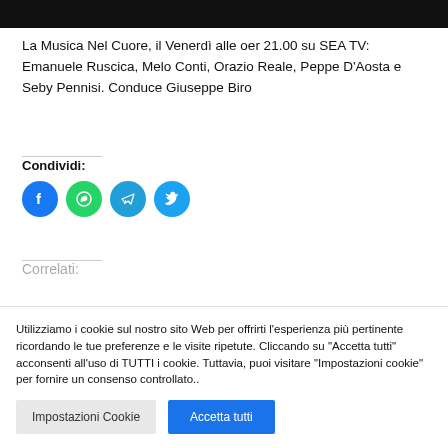[Figure (other): Black header bar at top of page]
La Musica Nel Cuore, il Venerdì alle oer 21.00 su SEA TV: Emanuele Ruscica, Melo Conti, Orazio Reale, Peppe D'Aosta e Seby Pennisi. Conduce Giuseppe Biro
Condividi:
[Figure (other): Social share buttons: Facebook (blue circle), WhatsApp (green circle), Telegram (blue circle), Twitter (light blue circle)]
Correlati:
Utilizziamo i cookie sul nostro sito Web per offrirti l'esperienza più pertinente ricordando le tue preferenze e le visite ripetute. Cliccando su "Accetta tutti" acconsenti all'uso di TUTTI i cookie. Tuttavia, puoi visitare "Impostazioni cookie" per fornire un consenso controllato..
Impostazioni Cookie | Accetta tutti